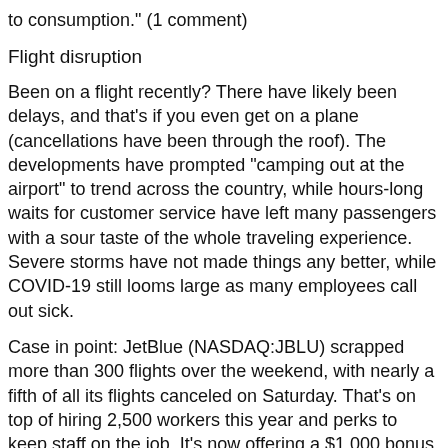to consumption." (1 comment)
Flight disruption
Been on a flight recently? There have likely been delays, and that's if you even get on a plane (cancellations have been through the roof). The developments have prompted "camping out at the airport" to trend across the country, while hours-long waits for customer service have left many passengers with a sour taste of the whole traveling experience. Severe storms have not made things any better, while COVID-19 still looms large as many employees call out sick.
Case in point: JetBlue (NASDAQ:JBLU) scrapped more than 300 flights over the weekend, with nearly a fifth of all its flights canceled on Saturday. That's on top of hiring 2,500 workers this year and perks to keep staff on the job. It's now offering a $1,000 bonus to flight attendants who don't call out of work through May 31, as well as an extra $100 per trip for attendants who pick up open flights on days off.